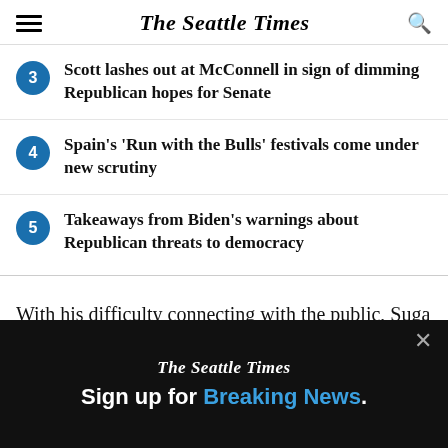The Seattle Times
Scott lashes out at McConnell in sign of dimming Republican hopes for Senate
Spain's 'Run with the Bulls' festivals come under new scrutiny
Takeaways from Biden's warnings about Republican threats to democracy
With his difficulty connecting with the public, Suga shouldered the blame for the broader failings of the
The Seattle Times
Sign up for Breaking News.